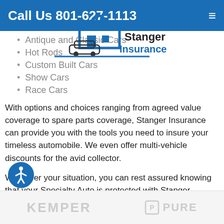Call Us 801-627-1113
[Figure (logo): Stanger Insurance logo with house and car graphic]
Antique and Classic Cars
Hot Rods
Custom Built Cars
Show Cars
Race Cars
With options and choices ranging from agreed value coverage to spare parts coverage, Stanger Insurance can provide you with the tools you need to insure your timeless automobile. We even offer multi-vehicle discounts for the avid collector.
Whatever your situation, you can rest assured knowing that your Specialty Auto is protected with Stanger Insurance.
KEMPER | PURE